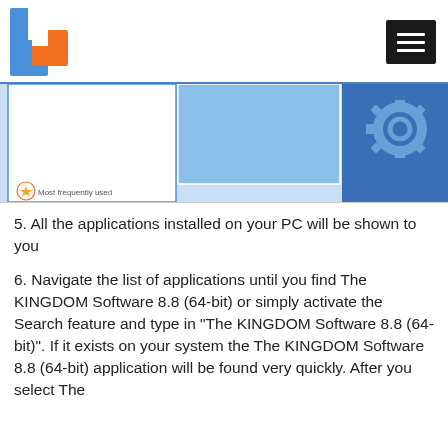[Figure (screenshot): Screenshot of Windows application list showing a Start Menu-like interface with a light blue rectangle area, darker blue panel on the right with gear icons, and a 'Most frequently used' label with star icon at the bottom left.]
5. All the applications installed on your PC will be shown to you
6. Navigate the list of applications until you find The KINGDOM Software 8.8 (64-bit) or simply activate the Search feature and type in "The KINGDOM Software 8.8 (64-bit)". If it exists on your system the The KINGDOM Software 8.8 (64-bit) application will be found very quickly. After you select The